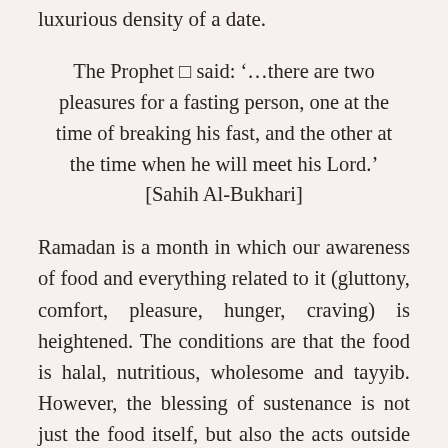luxurious density of a date.
The Prophet ﷺ said: '…there are two pleasures for a fasting person, one at the time of breaking his fast, and the other at the time when he will meet his Lord.' [Sahih Al-Bukhari]
Ramadan is a month in which our awareness of food and everything related to it (gluttony, comfort, pleasure, hunger, craving) is heightened. The conditions are that the food is halal, nutritious, wholesome and tayyib. However, the blessing of sustenance is not just the food itself, but also the acts outside of it and the observation of manners, which